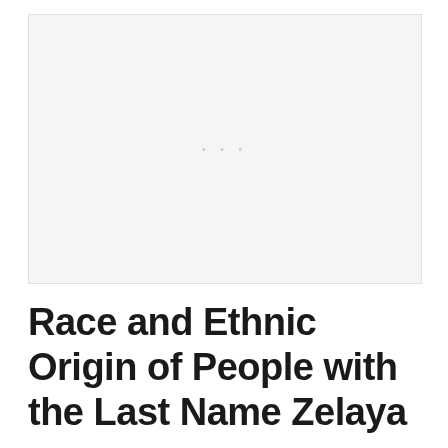[Figure (other): Blank/placeholder image area with faint dots in the center, light gray background]
Race and Ethnic Origin of People with the Last Name Zelaya